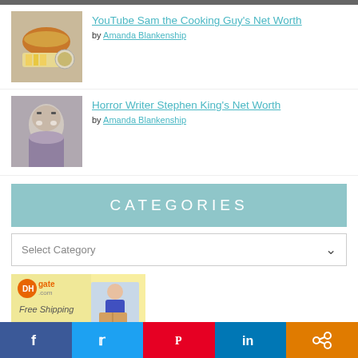YouTube Sam the Cooking Guy's Net Worth by Amanda Blankenship
Horror Writer Stephen King's Net Worth by Amanda Blankenship
CATEGORIES
Select Category
[Figure (photo): DHgate.com advertisement banner with logo, Free Shipping text, delivery person carrying box, and product images]
Social share bar: Facebook, Twitter, Pinterest, LinkedIn, Share